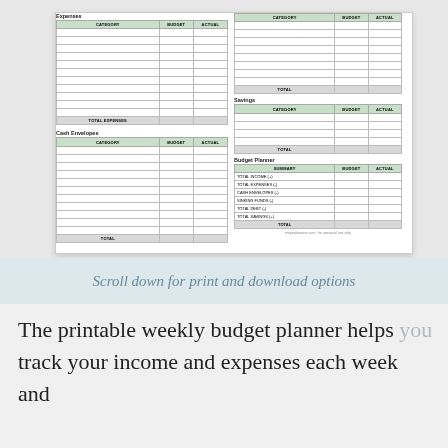[Figure (other): Preview of a printable weekly budget planner document showing multiple tables: Expenses, Cash Envelopes, a second category table, Savings, and Budget Planner summary table]
Scroll down for print and download options
The printable weekly budget planner helps you track your income and expenses each week and